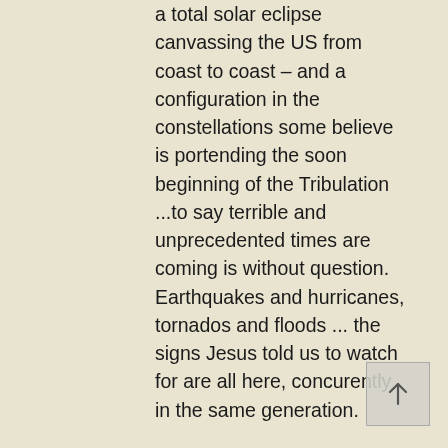a total solar eclipse canvassing the US from coast to coast – and a configuration in the constellations some believe is portending the soon beginning of the Tribulation ...to say terrible and unprecedented times are coming is without question. Earthquakes and hurricanes, tornados and floods ... the signs Jesus told us to watch for are all here, concurently in the same generation.

But the Word of God says that the believer must not be afraid in a time of evil tidings. Why? Because there is nothing that can affect the believer without first going through the hands of his Lord. The believer knows full well that his Lord has promised to be with